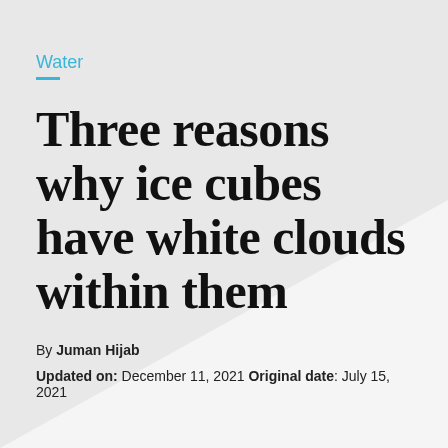Water
Three reasons why ice cubes have white clouds within them
By Juman Hijab
Updated on: December 11, 2021 Original date: July 15, 2021